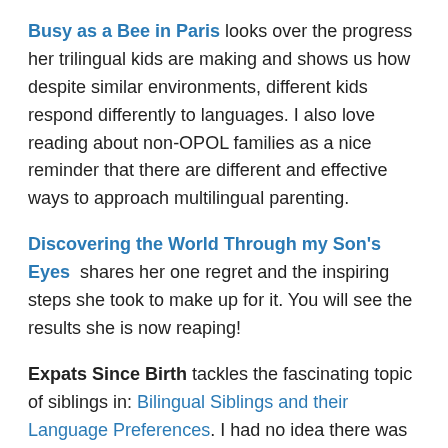Busy as a Bee in Paris looks over the progress her trilingual kids are making and shows us how despite similar environments, different kids respond differently to languages. I also love reading about non-OPOL families as a nice reminder that there are different and effective ways to approach multilingual parenting.
Discovering the World Through my Son's Eyes shares her one regret and the inspiring steps she took to make up for it. You will see the results she is now reaping!
Expats Since Birth tackles the fascinating topic of siblings in: Bilingual Siblings and their Language Preferences. I had no idea there was a book written on this topic that can help figure out where your family sits in the multilingual spectrum.